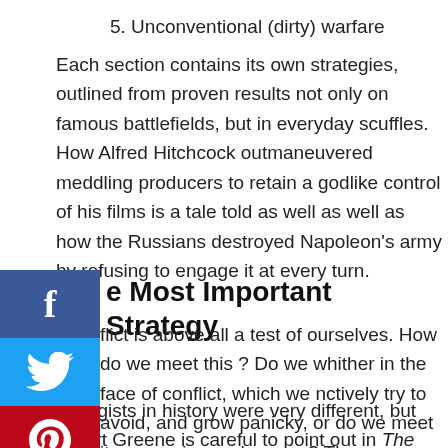5. Unconventional (dirty) warfare
Each section contains its own strategies, outlined from proven results not only on famous battlefields, but in everyday scuffles. How Alfred Hitchcock outmaneuvered meddling producers to retain a godlike control of his films is a tale told as well as well as how the Russians destroyed Napoleon's army by refusing to engage it at every turn.
e Most Important Strategy
flict is above all a test of ourselves. How do we meet this ? Do we whither in the face of conflict, which we nctively try to avoid, and grow panicky, or do we meet it aggression and energy? The careers of the best strategists in history were very different, but Robert Greene is careful to point out in The 33 Strategies of War that they all shared this trait, which he calls “presence of mind.” They